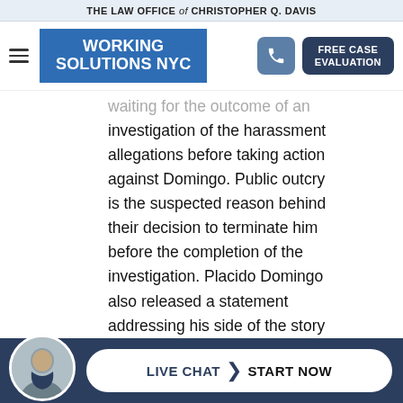THE LAW OFFICE of CHRISTOPHER Q. DAVIS
[Figure (logo): Working Solutions NYC logo with hamburger menu, phone button, and FREE CASE EVALUATION button]
waiting for the outcome of an investigation of the harassment allegations before taking action against Domingo. Public outcry is the suspected reason behind their decision to terminate him before the completion of the investigation. Placido Domingo also released a statement addressing his side of the story and noting his long career at the Met, performing there for 51 years. He said, “while I
[Figure (photo): Attorney photo with Live Chat - Start Now button at bottom]